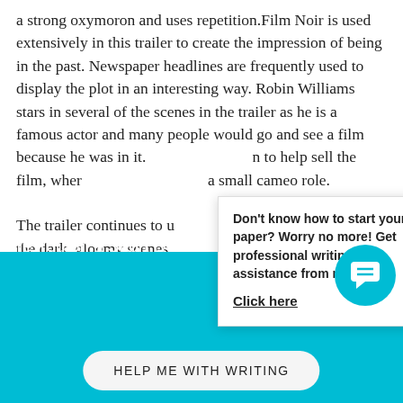a strong oxymoron and uses repetition. Film Noir is used extensively in this trailer to create the impression of being in the past. Newspaper headlines are frequently used to display the plot in an interesting way. Robin Williams stars in several of the scenes in the trailer as he is a famous actor and many people would go and see a film because he was in it. to help sell the film, wher a small cameo role.

The trailer continues to u the dark, gloomy scenes colourful, present day sc
Don't know how to start your paper? Worry no more! Get professional writing assistance from me.

Click here
Are You on a Short Deadline? Let a Professional Wri You
HELP ME WITH WRITING